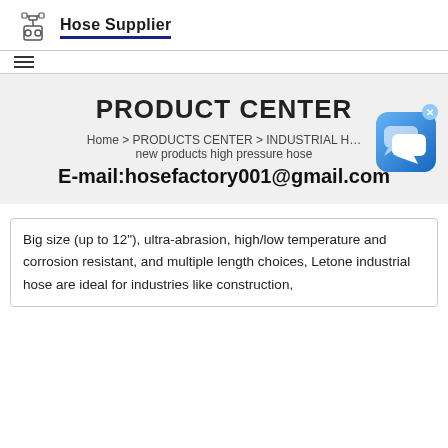Hose Supplier
PRODUCT CENTER
Home > PRODUCTS CENTER > INDUSTRIAL H... new products high pressure hose
E-mail:hosefactory001@gmail.com
[Figure (other): Chat widget icon with speech bubbles on blue rounded square background, with X close button]
Big size (up to 12"), ultra-abrasion, high/low temperature and corrosion resistant, and multiple length choices, Letone industrial hose are ideal for industries like construction,